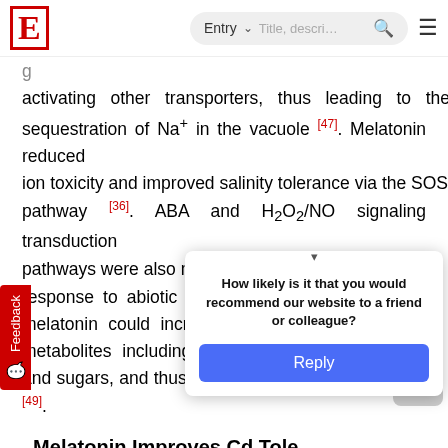E  Entry  [search bar]
activating other transporters, thus leading to the sequestration of Na⁺ in the vacuole [47]. Melatonin reduced ion toxicity and improved salinity tolerance via the SOS pathway [36]. ABA and H₂O₂/NO signaling transduction pathways were also modulated for plant tolerance in response to abiotic stress [36][37][45][48]. In addition, melatonin could increase primary and secondary metabolites including amino acids, organic acids and sugars, and thus improving plant cold tolerance [49].
Melatonin Improves Cd Tolerance in Plant
It has be... [partially visible] ... stress and ... key role in protecting ... izes that